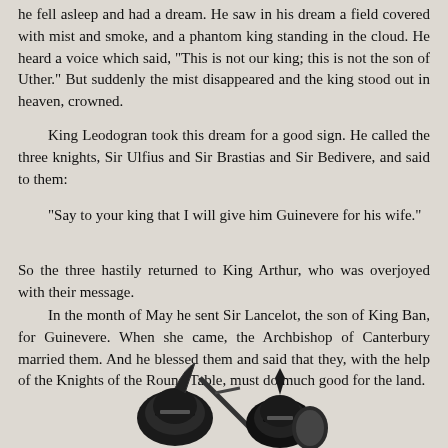he fell asleep and had a dream. He saw in his dream a field covered with mist and smoke, and a phantom king standing in the cloud. He heard a voice which said, "This is not our king; this is not the son of Uther." But suddenly the mist disappeared and the king stood out in heaven, crowned.
King Leodogran took this dream for a good sign. He called the three knights, Sir Ulfius and Sir Brastias and Sir Bedivere, and said to them:
"Say to your king that I will give him Guinevere for his wife."
So the three hastily returned to King Arthur, who was overjoyed with their message.
In the month of May he sent Sir Lancelot, the son of King Ban, for Guinevere. When she came, the Archbishop of Canterbury married them. And he blessed them and said that they, with the help of the Knights of the Round Table, must do much good for the land.
[Figure (illustration): Black and white illustration of knights with helmets and swords, shown from roughly the shoulders/head area, at the bottom of the page.]